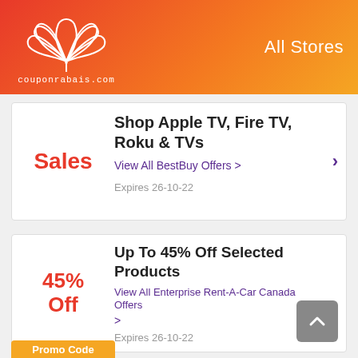couponrabais.com | All Stores
Sales
Shop Apple TV, Fire TV, Roku & TVs
View All BestBuy Offers >
Expires 26-10-22
45% Off
Up To 45% Off Selected Products
View All Enterprise Rent-A-Car Canada Offers >
Expires 26-10-22
Promo Code